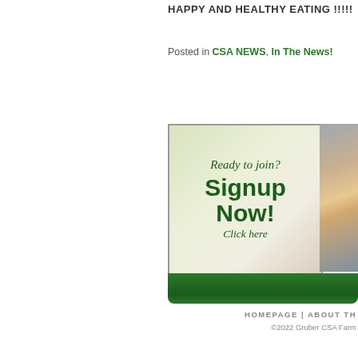HAPPY AND HEALTHY EATING !!!!!
Posted in CSA NEWS, In The News!
[Figure (illustration): Signup banner with background image of vegetables and text: Ready to join? Signup Now! Click here]
[Figure (photo): Child eating watermelon slice]
HOMEPAGE | ABOUT TH... ©2022 Gruber CSA Farm...